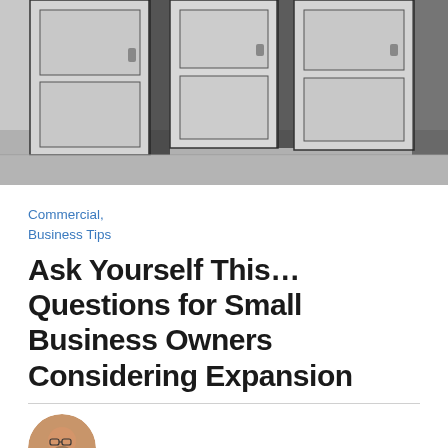[Figure (photo): Black and white photograph of three white panel doors slightly ajar, seen from a corridor perspective]
Commercial, Business Tips
Ask Yourself This… Questions for Small Business Owners Considering Expansion
[Figure (photo): Circular headshot portrait of Mike Gorman, a middle-aged man with glasses and a beard]
By Mike Gorman